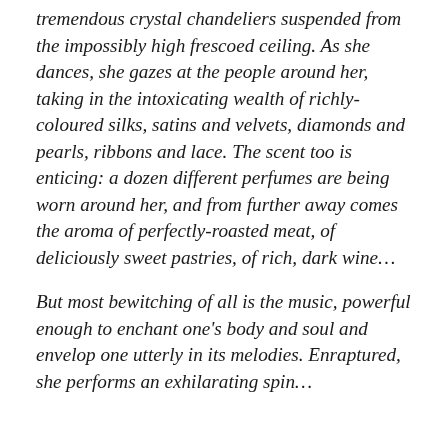tremendous crystal chandeliers suspended from the impossibly high frescoed ceiling. As she dances, she gazes at the people around her, taking in the intoxicating wealth of richly-coloured silks, satins and velvets, diamonds and pearls, ribbons and lace. The scent too is enticing: a dozen different perfumes are being worn around her, and from further away comes the aroma of perfectly-roasted meat, of deliciously sweet pastries, of rich, dark wine…
But most bewitching of all is the music, powerful enough to enchant one's body and soul and envelop one utterly in its melodies. Enraptured, she performs an exhilarating spin…